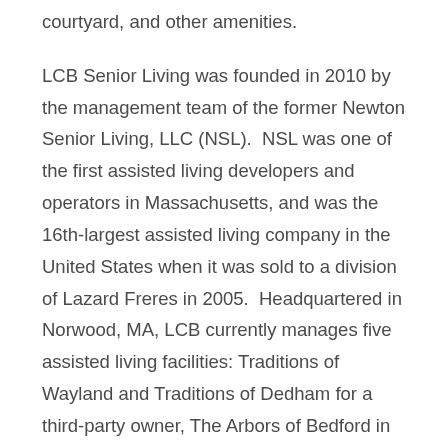courtyard, and other amenities.
LCB Senior Living was founded in 2010 by the management team of the former Newton Senior Living, LLC (NSL).  NSL was one of the first assisted living developers and operators in Massachusetts, and was the 16th-largest assisted living company in the United States when it was sold to a division of Lazard Freres in 2005.  Headquartered in Norwood, MA, LCB currently manages five assisted living facilities: Traditions of Wayland and Traditions of Dedham for a third-party owner, The Arbors of Bedford in Bedford, NH, The Lighthouse at Lincoln in Lincoln, RI, The Residence at Pearl Street in Reading, MA and The Residence at Cedar